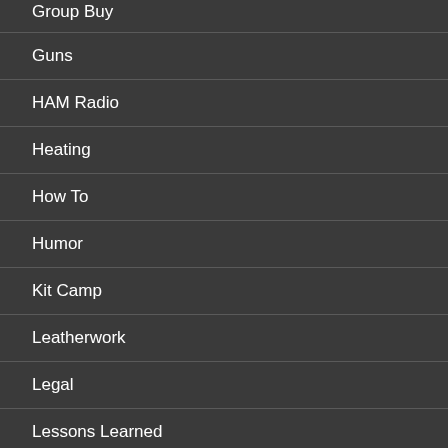Group Buy
Guns
HAM Radio
Heating
How To
Humor
Kit Camp
Leatherwork
Legal
Lessons Learned
Light